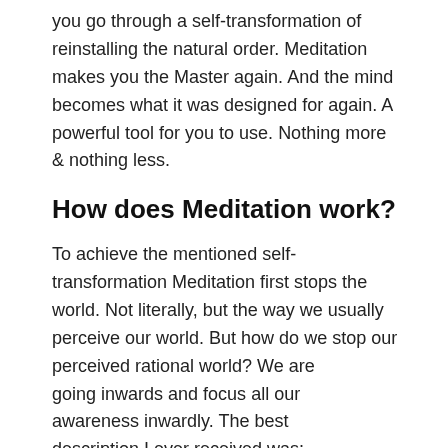you go through a self-transformation of reinstalling the natural order. Meditation makes you the Master again. And the mind becomes what it was designed for again. A powerful tool for you to use. Nothing more & nothing less.
How does Meditation work?
To achieve the mentioned self-transformation Meditation first stops the world. Not literally, but the way we usually perceive our world. But how do we stop our perceived rational world? We are going inwards and focus all our awareness inwardly. The best description I ever received was: We reduce our world to enlarge it. What does that mean?
[Figure (photo): Two people in traditional African clothing crouching and working with sticks on the ground, making fire using ancient friction method.]
I like to compare Meditation with ancient fire making. You rub your